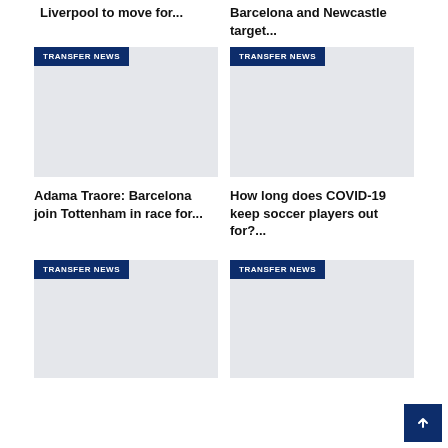Liverpool to move for...
Barcelona and Newcastle target...
[Figure (photo): Transfer News placeholder image - grey box with TRANSFER NEWS badge]
[Figure (photo): Transfer News placeholder image - grey box with TRANSFER NEWS badge]
Adama Traore: Barcelona join Tottenham in race for...
How long does COVID-19 keep soccer players out for?...
[Figure (photo): Transfer News placeholder image - grey box with TRANSFER NEWS badge]
[Figure (photo): Transfer News placeholder image - grey box with TRANSFER NEWS badge]